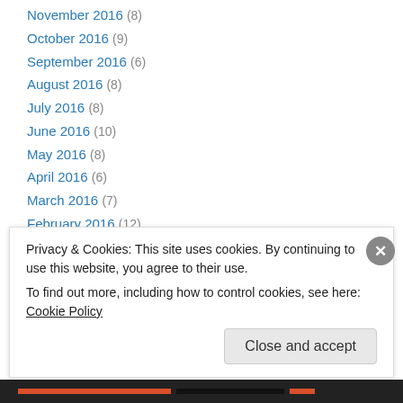November 2016 (8)
October 2016 (9)
September 2016 (6)
August 2016 (8)
July 2016 (8)
June 2016 (10)
May 2016 (8)
April 2016 (6)
March 2016 (7)
February 2016 (12)
January 2016 (12)
December 2015 (8)
November 2015 (10)
Privacy & Cookies: This site uses cookies. By continuing to use this website, you agree to their use. To find out more, including how to control cookies, see here: Cookie Policy
Close and accept